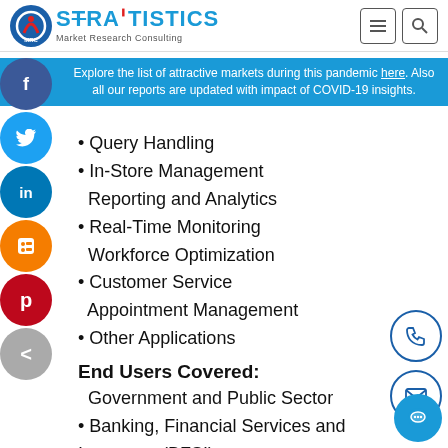Stratistics Market Research Consulting
Explore the list of attractive markets during this pandemic here. Also all our reports are updated with impact of COVID-19 insights.
Query Handling
In-Store Management
Reporting and Analytics
Real-Time Monitoring
Workforce Optimization
Customer Service
Appointment Management
Other Applications
End Users Covered:
Government and Public Sector
Banking, Financial Services and Insurance (BFSI)
IT and Telecom
Retail and Consumer Goods
Travel and Hospitality (Restaurants)